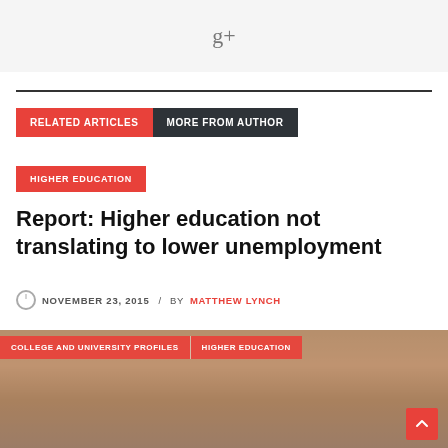[Figure (logo): Google+ icon (g+) on light gray background]
RELATED ARTICLES   MORE FROM AUTHOR
HIGHER EDUCATION
Report: Higher education not translating to lower unemployment
NOVEMBER 23, 2015 / BY MATTHEW LYNCH
[Figure (photo): Classroom photo with students, overlaid with tags COLLEGE AND UNIVERSITY PROFILES | HIGHER EDUCATION]